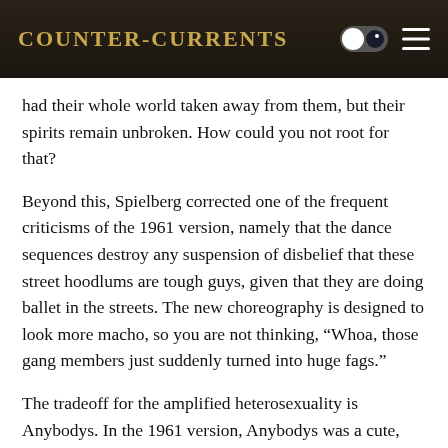Counter-Currents
had their whole world taken away from them, but their spirits remain unbroken. How could you not root for that?
Beyond this, Spielberg corrected one of the frequent criticisms of the 1961 version, namely that the dance sequences destroy any suspension of disbelief that these street hoodlums are tough guys, given that they are doing ballet in the streets. The new choreography is designed to look more macho, so you are not thinking, “Whoa, those gang members just suddenly turned into huge fags.”
The tradeoff for the amplified heterosexuality is Anybodys. In the 1961 version, Anybodys was a cute, waifish tomboy, but in Spielberg’s remake, she is a full-on bulldyke transman. Anybodys is not just butch, she’s more masculine than any of the other Jets. She gives one a bloody nose for misgendering her and then overpowers a